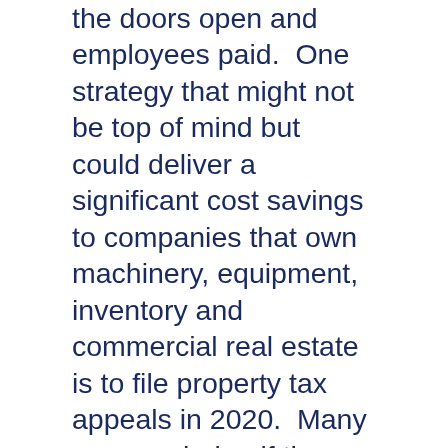the doors open and employees paid.  One strategy that might not be top of mind but could deliver a significant cost savings to companies that own machinery, equipment, inventory and commercial real estate is to file property tax appeals in 2020.  Many are wondering if they can file appeals in 2020 and want to know how to include pandemic in their appeal.  What action can they take now? Have the taxing jurisdictions granted any extensions for property taxes this year?
These questions, and many more, are included in our Property Tax 2020 video Uboxing to this video, Ann Clar...